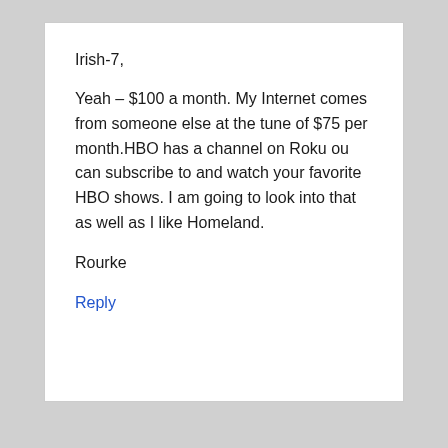Irish-7,
Yeah – $100 a month. My Internet comes from someone else at the tune of $75 per month.HBO has a channel on Roku ou can subscribe to and watch your favorite HBO shows. I am going to look into that as well as I like Homeland.
Rourke
Reply